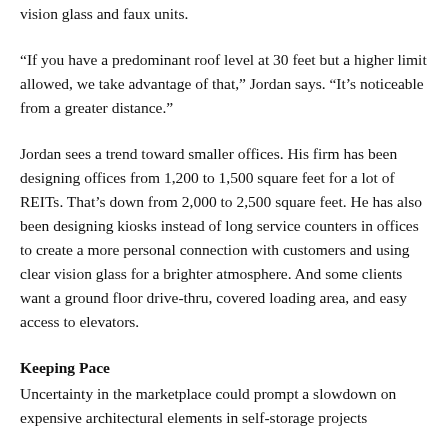vision glass and faux units.
“If you have a predominant roof level at 30 feet but a higher limit allowed, we take advantage of that,” Jordan says. “It’s noticeable from a greater distance.”
Jordan sees a trend toward smaller offices. His firm has been designing offices from 1,200 to 1,500 square feet for a lot of REITs. That’s down from 2,000 to 2,500 square feet. He has also been designing kiosks instead of long service counters in offices to create a more personal connection with customers and using clear vision glass for a brighter atmosphere. And some clients want a ground floor drive-thru, covered loading area, and easy access to elevators.
Keeping Pace
Uncertainty in the marketplace could prompt a slowdown on expensive architectural elements in self-storage projects...